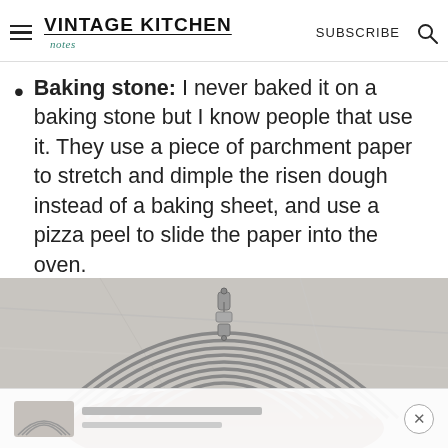VINTAGE KITCHEN NOTES | SUBSCRIBE
Baking stone: I never baked it on a baking stone but I know people that use it. They use a piece of parchment paper to stretch and dimple the risen dough instead of a baking sheet, and use a pizza peel to slide the paper into the oven.
[Figure (photo): Close-up photo of a round wire cooling rack or baking rack on a marble or stone surface, showing multiple concentric metal wires joined at a clip/clasp at the top center. The bottom of the image shows a partial view of a baked good on a lower rack.]